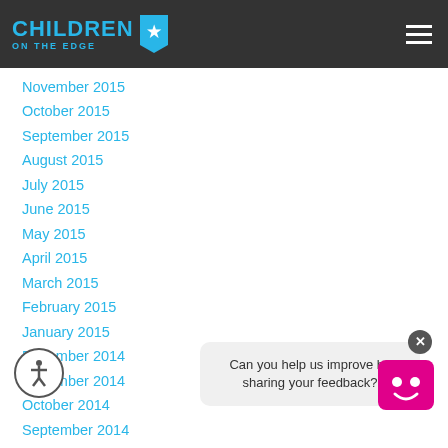CHILDREN ON THE EDGE
November 2015
October 2015
September 2015
August 2015
July 2015
June 2015
May 2015
April 2015
March 2015
February 2015
January 2015
December 2014
November 2014
October 2014
September 2014
August 2014
Can you help us improve by sharing your feedback?